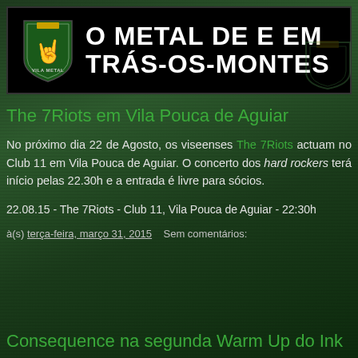O METAL DE E EM TRÁS-OS-MONTES
The 7Riots em Vila Pouca de Aguiar
No próximo dia 22 de Agosto, os viseenses The 7Riots actuam no Club 11 em Vila Pouca de Aguiar. O concerto dos hard rockers terá início pelas 22.30h e a entrada é livre para sócios.
22.08.15 - The 7Riots - Club 11, Vila Pouca de Aguiar - 22:30h
à(s) terça-feira, março 31, 2015    Sem comentários:
Consequence na segunda Warm Up do Ink